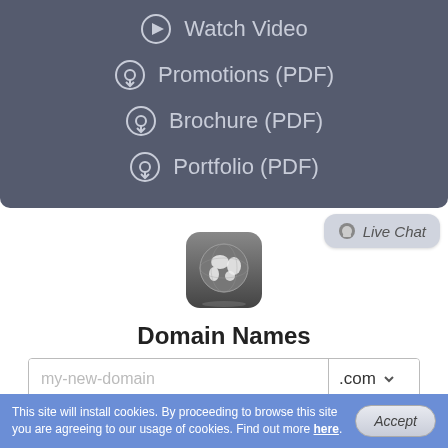Watch Video
Promotions (PDF)
Brochure (PDF)
Portfolio (PDF)
[Figure (illustration): Globe icon on a gray rounded square app-style button]
Domain Names
my-new-domain .com
Live Chat
This site will install cookies. By proceeding to browse this site you are agreeing to our usage of cookies. Find out more here.